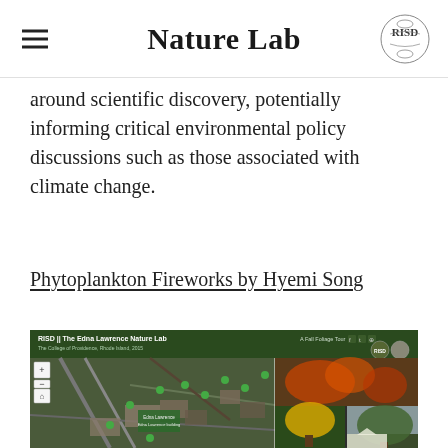Nature Lab
around scientific discovery, potentially informing critical environmental policy discussions such as those associated with climate change.
Phytoplankton Fireworks by Hyemi Song
[Figure (screenshot): Screenshot of RISD || The Edna Lawrence Nature Lab website showing a satellite map of Providence, Rhode Island with green location markers, and a collage of fall foliage photos on the right side. Dark green header bar with RISD logo and navigation elements. A Fall Foliage Tour label visible in the header.]